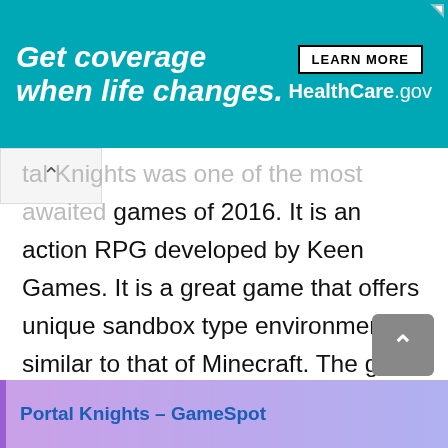[Figure (screenshot): Advertisement banner with teal background. Text reads 'Get coverage when life changes.' with a 'LEARN MORE' button and 'HealthCare.gov' branding on the right.]
tal Knights was one of the most awaited games of 2016. It is an action RPG developed by Keen Games. It is a great game that offers unique sandbox type environment similar to that of Minecraft. The game was loved by a lot of players but it did not capture the same fan base as Minecraft. Initial Release. The game was first released on February 25th, 2016 on Steam. Subsequently more versions of the …
Portal Knights – GameSpot